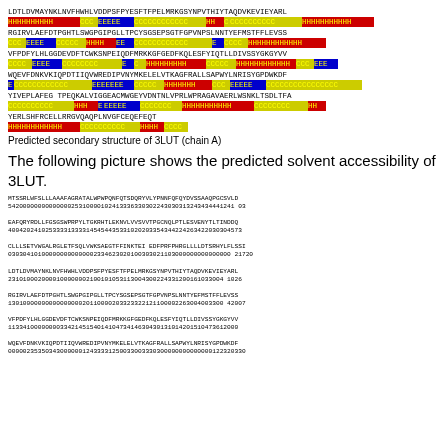[Figure (other): Predicted secondary structure visualization for 3LUT chain A, showing amino acid sequence with color-coded secondary structure bars (red=helix, blue=strand, yellow=coil) across 6 sequence rows plus partial 7th row]
Predicted secondary structure of 3LUT (chain A)
The following picture shows the predicted solvent accessibility of 3LUT.
[Figure (other): Predicted solvent accessibility of 3LUT showing amino acid sequence with numeric accessibility values (0-5 scale) below each sequence row]